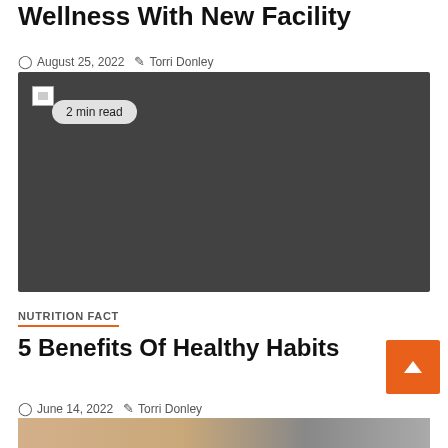Wellness With New Facility
August 25, 2022  Torri Donley
[Figure (photo): Large dark gray placeholder image with broken image icon and '2 min read' badge overlay]
NUTRITION FACT
5 Benefits Of Healthy Habits
June 14, 2022  Torri Donley
[Figure (photo): Partial bottom image showing a person, appears to be a health/wellness photo]